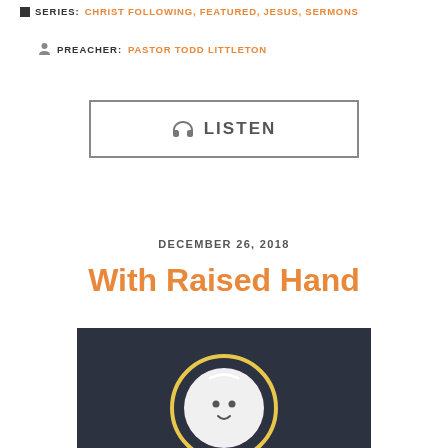SERIES: CHRIST FOLLOWING, FEATURED, JESUS, SERMONS
PREACHER: PASTOR TODD LITTLETON
[Figure (other): LISTEN button with headphone icon, outlined rectangle button]
DECEMBER 26, 2018
With Raised Hand
[Figure (illustration): Dark navy background illustration showing a baby/infant figure with a halo circle outline and yellow circular border]